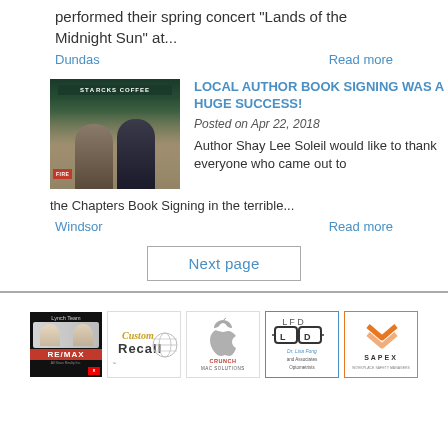performed their spring concert "Lands of the Midnight Sun" at...
Dundas    Read more
LOCAL AUTHOR BOOK SIGNING WAS A HUGE SUCCESS!
Posted on Apr 22, 2018
Author Shay Lee Soleil would like to thank everyone who came out to the Chapters Book Signing in the terrible...
Windsor    Read more
Next page
[Figure (photo): Photo of two people at a Starbucks Coffee book signing event, with a FIRE book display nearby]
[Figure (logo): Lynch Team RE/MAX real estate logo with two agents]
[Figure (logo): Custom Recall logo]
[Figure (logo): Apple / Crunch Mac Solutions logo]
[Figure (logo): Dr. Lisa Fong and Associates Optometrists logo]
[Figure (logo): Sapex Workplace Safety Managers logo]